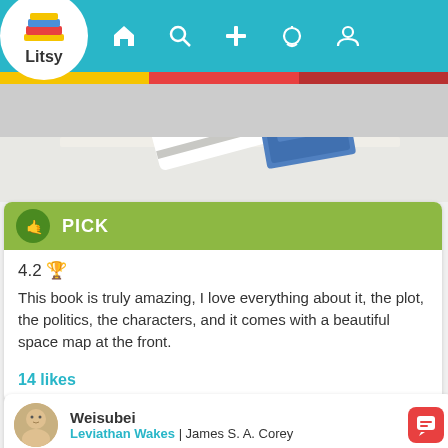[Figure (screenshot): Litsy app logo with stacked colorful books and text 'Litsy' in a white circle]
Litsy app navigation bar with home, search, add, notifications, and profile icons
[Figure (photo): Photo of a book on a shelf with blue cover visible]
PICK
4.2 🏆
This book is truly amazing, I love everything about it, the plot, the politics, the characters, and it comes with a beautiful space map at the front.
14 likes
Weisubei
Leviathan Wakes | James S. A. Corey